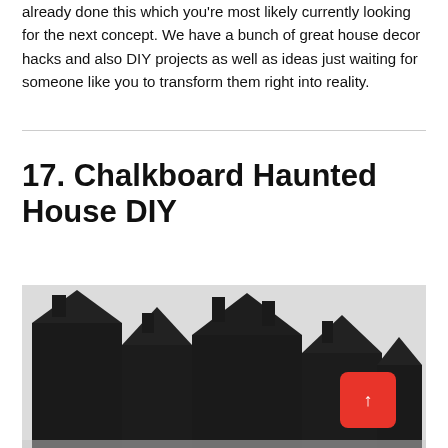already done this which you're most likely currently looking for the next concept. We have a bunch of great house decor hacks and also DIY projects as well as ideas just waiting for someone like you to transform them right into reality.
17. Chalkboard Haunted House DIY
[Figure (photo): A chalkboard painted haunted house DIY craft — black geometric house shapes photographed against a light grey background, with a red back-to-top button overlay in the bottom right corner.]